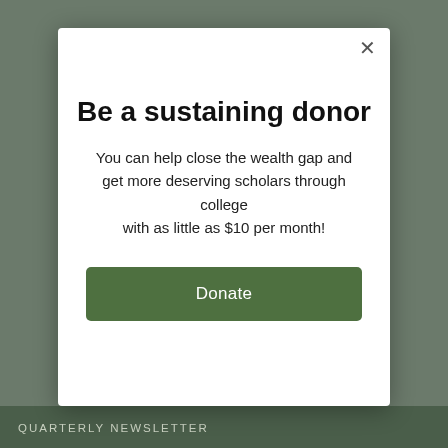Be a sustaining donor
You can help close the wealth gap and get more deserving scholars through college with as little as $10 per month!
Donate
QUARTERLY NEWSLETTER